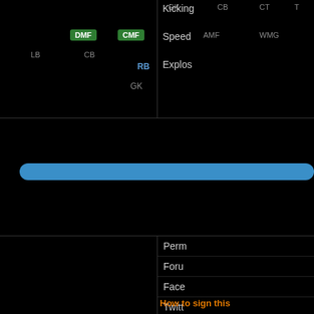[Figure (screenshot): Soccer/football player profile page showing position labels (DMF, CMF badges in green, RB label in blue, GK label in gray), a blue progress bar, right column with navigation links (Kicking, Speed, Explos, Perm, Forum, Face, Twit) partially visible, and a cookie consent overlay with 'This website uses cookies to ensure you get the best experience on our website.' text, 'Learn more' link, and 'Got it!' button.]
This website uses cookies to ensure you get the best experience on our website.
Learn more
Got it!
How to sign this